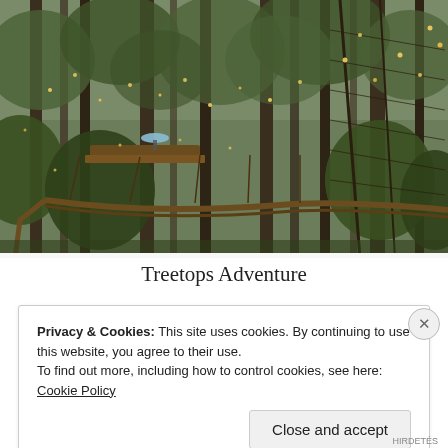[Figure (photo): Aerial walkway and suspension bridges through tall forest trees adorned with string lights, with a wooden treehouse platform visible among misty green conifers]
Treetops Adventure
Privacy & Cookies: This site uses cookies. By continuing to use this website, you agree to their use.
To find out more, including how to control cookies, see here: Cookie Policy
Close and accept